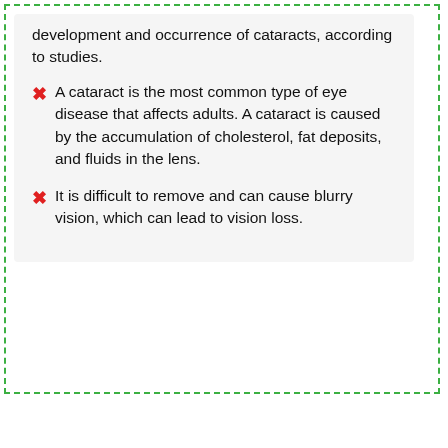development and occurrence of cataracts, according to studies.
A cataract is the most common type of eye disease that affects adults. A cataract is caused by the accumulation of cholesterol, fat deposits, and fluids in the lens.
It is difficult to remove and can cause blurry vision, which can lead to vision loss.